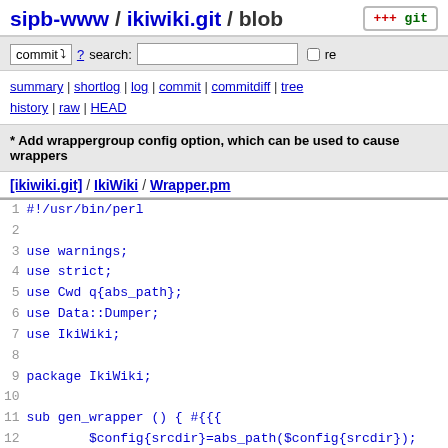sipb-www / ikiwiki.git / blob
commit ? search: re
summary | shortlog | log | commit | commitdiff | tree history | raw | HEAD
* Add wrappergroup config option, which can be used to cause wrappers
[ikiwiki.git] / IkiWiki / Wrapper.pm
1 #!/usr/bin/perl
2
3 use warnings;
4 use strict;
5 use Cwd q{abs_path};
6 use Data::Dumper;
7 use IkiWiki;
8
9 package IkiWiki;
10
11 sub gen_wrapper () { #{{{
12         $config{srcdir}=abs_path($config{srcdir});
13         $config{destdir}=abs_path($config{destdir});
14         my $this=abs_path($0);
15         if (! -x $this) {
16                 error(sprintf(gettext("%s doesn't seem
17         }
18